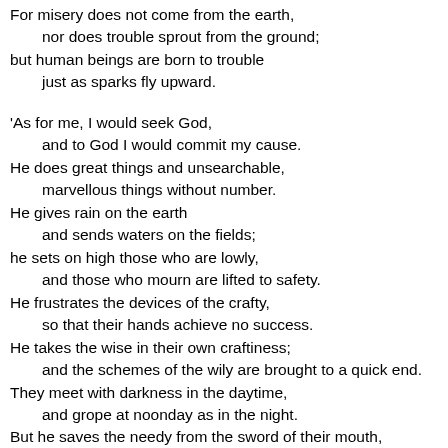For misery does not come from the earth,
    nor does trouble sprout from the ground;
but human beings are born to trouble
    just as sparks fly upward.

'As for me, I would seek God,
    and to God I would commit my cause.
He does great things and unsearchable,
    marvellous things without number.
He gives rain on the earth
    and sends waters on the fields;
he sets on high those who are lowly,
    and those who mourn are lifted to safety.
He frustrates the devices of the crafty,
    so that their hands achieve no success.
He takes the wise in their own craftiness;
    and the schemes of the wily are brought to a quick end.
They meet with darkness in the daytime,
    and grope at noonday as in the night.
But he saves the needy from the sword of their mouth,